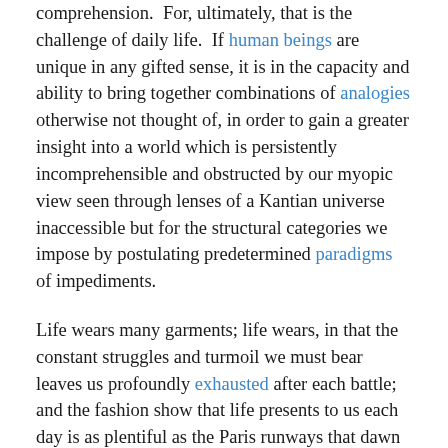comprehension.  For, ultimately, that is the challenge of daily life.  If human beings are unique in any gifted sense, it is in the capacity and ability to bring together combinations of analogies otherwise not thought of, in order to gain a greater insight into a world which is persistently incomprehensible and obstructed by our myopic view seen through lenses of a Kantian universe inaccessible but for the structural categories we impose by postulating predetermined paradigms of impediments.
Life wears many garments; life wears, in that the constant struggles and turmoil we must bear leaves us profoundly exhausted after each battle; and the fashion show that life presents to us each day is as plentiful as the Paris runways that dawn with each new season, and yet we must somehow endure it all.